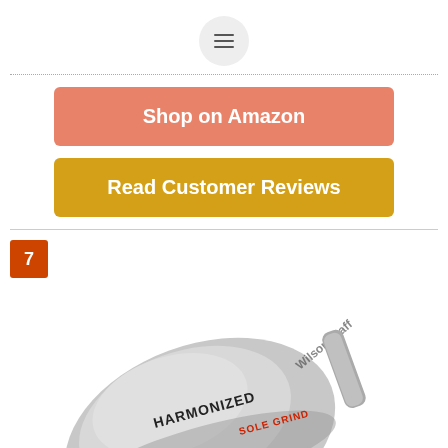[Figure (other): Hamburger menu button icon in a circular grey background]
Shop on Amazon
Read Customer Reviews
7
[Figure (photo): Photo of a Wilson Harmonized Sole Grind 50 degree golf wedge, silver/chrome finish]